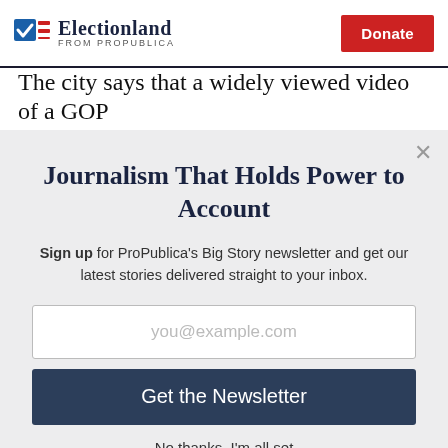Electionland from ProPublica | Donate
The city says that a widely viewed video of a GOP
Journalism That Holds Power to Account
Sign up for ProPublica's Big Story newsletter and get our latest stories delivered straight to your inbox.
you@example.com
Get the Newsletter
No thanks, I'm all set
This site is protected by reCAPTCHA and the Google Privacy Policy and Terms of Service apply.